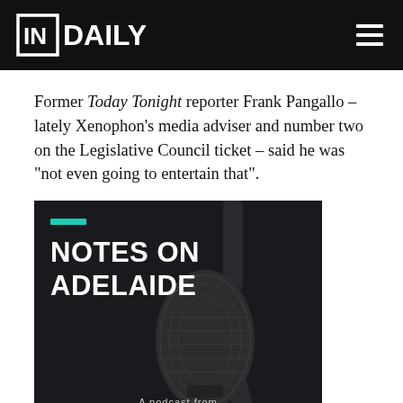IN DAILY
Former Today Tonight reporter Frank Pangallo – lately Xenophon’s media adviser and number two on the Legislative Council ticket – said he was “not even going to entertain that”.
[Figure (photo): Podcast artwork for 'Notes on Adelaide' from InDaily, showing a close-up of a microphone against a dark background with the podcast title in large white bold text and the InDaily logo at the bottom.]